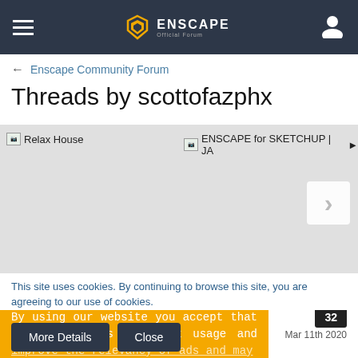≡ ENSCAPE Official Forum [user icon]
← Enscape Community Forum
Threads by scottofazphx
[Figure (screenshot): Carousel showing thread thumbnails: 'Relax House' and 'ENSCAPE for SKETCHUP | JA...' with a right arrow navigation button on a light grey background]
Last Reply
[Figure (screenshot): Orange cookie consent overlay: 'By using our website you accept that we use cookies to track usage and improve the relevancy of ads and may...' with reply badge showing 32 and date Mar 11th 2020]
This site uses cookies. By continuing to browse this site, you are agreeing to our use of cookies.
More Details
Close